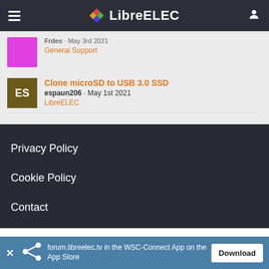LibreELEC
Frdes · May 3rd 2021
General Support
Clone microSD to USB 3.0 SSD
espaun206 · May 1st 2021
LibreELEC
Privacy Policy
Cookie Policy
Contact
forum.libreelec.tv in the WSC-Connect App on the App Store  Download